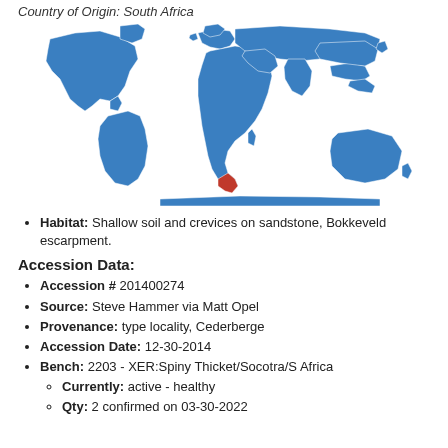Country of Origin: South Africa
[Figure (map): World map with South Africa highlighted in orange/red, all other landmasses in blue.]
Habitat: Shallow soil and crevices on sandstone, Bokkeveld escarpment.
Accession Data:
Accession # 201400274
Source: Steve Hammer via Matt Opel
Provenance: type locality, Cederberge
Accession Date: 12-30-2014
Bench: 2203 - XER:Spiny Thicket/Socotra/S Africa
Currently: active - healthy
Qty: 2 confirmed on 03-30-2022